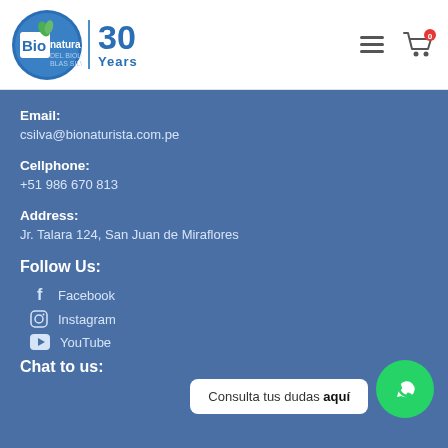[Figure (logo): Bionaturista del Biologo Blas Silva logo with 30 Years badge, hamburger menu icon, and shopping cart icon]
Email:
csilva@bionaturista.com.pe
Cellphone:
+51 986 670 813
Address:
Jr. Talara 124, San Juan de Miraflores
Follow Us:
Facebook
Instagram
YouTube
Consulta tus dudas aquí
Chat to us: